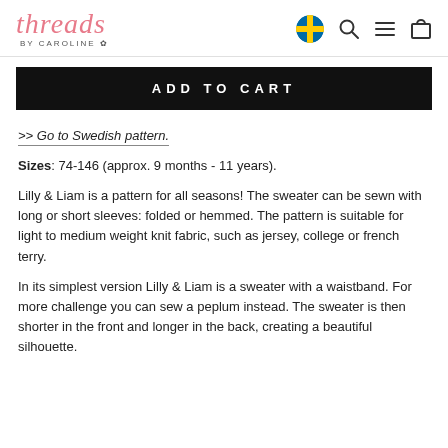threads BY CAROLINE [flag icon] [search icon] [menu icon] [cart icon]
ADD TO CART
>> Go to Swedish pattern.
Sizes: 74-146 (approx. 9 months - 11 years).
Lilly & Liam is a pattern for all seasons! The sweater can be sewn with long or short sleeves: folded or hemmed. The pattern is suitable for light to medium weight knit fabric, such as jersey, college or french terry.
In its simplest version Lilly & Liam is a sweater with a waistband. For more challenge you can sew a peplum instead. The sweater is then shorter in the front and longer in the back, creating a beautiful silhouette.